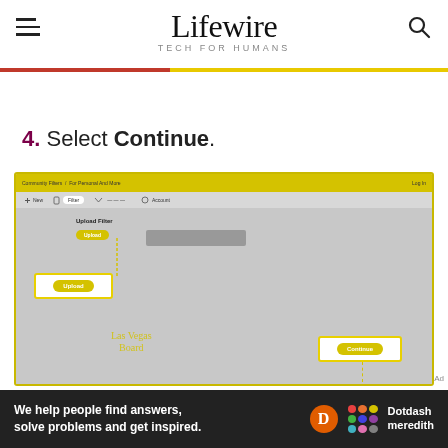Lifewire — TECH FOR HUMANS
4. Select Continue.
[Figure (screenshot): Screenshot of Snapchat Community Filters interface showing an 'Upload Filter' section with a yellow 'Upload' button highlighted in a white box, a greyed-out filter preview area, Las Vegas Board text watermark, and a highlighted 'Continue' button in the bottom right.]
We help people find answers, solve problems and get inspired.